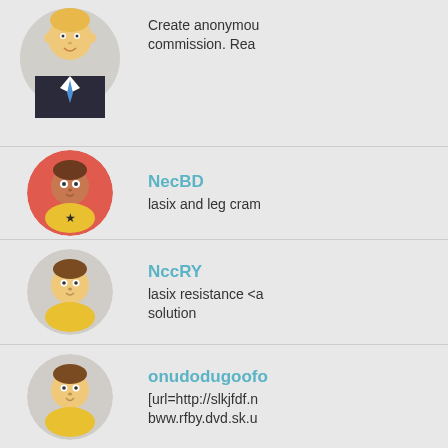[Figure (illustration): Partial avatar of a person in a suit with blue tie, top half visible]
Create anonymous commission. Read
[Figure (illustration): Avatar of a cartoon person with red circular background, brown hair, yellow shirt with star]
NecBD
lasix and leg cram
[Figure (illustration): Avatar of a cartoon person with light gray circular background, brown hair, yellow shirt]
NccRY
lasix resistance <a solution
[Figure (illustration): Avatar of a cartoon person with light gray circular background, brown hair, yellow shirt]
onudodugoofo
[url=http://slkjfdf.n bww.rfby.dvd.sk.u
[Figure (illustration): Avatar of a cartoon person with red circular background, brown hair, yellow shirt with star]
ezenaloxovu
[url=http://slkjfdf.n lql.vfeu.dvd.sk.iii.q
[Figure (illustration): Partial avatar of a cartoon person with light gray circular background, brown hair, partially visible at bottom]
ecunegef
[url=http://slkjfdf.n